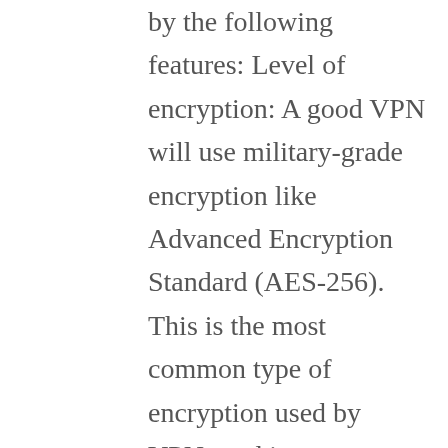by the following features: Level of encryption: A good VPN will use military-grade encryption like Advanced Encryption Standard (AES-256). This is the most common type of encryption used by VPNs and is very effective in protecting your information. DNS leak protection: A good VPN should provide you protection from DNS leaks. Kill Switch: Another feature that most good VPNs should have. It prevents your traffic from leaving in case your connection is interrupted. These and many other features ensure your